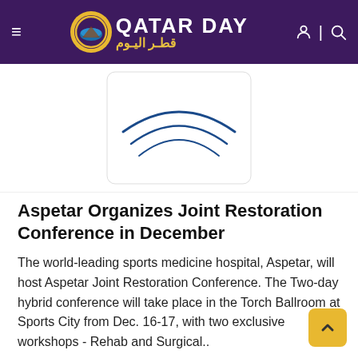Qatar Day قطر اليوم
[Figure (screenshot): Partial image of a white shirt or jersey with blue curved lines/logo visible against white background, inside a bordered frame]
Aspetar Organizes Joint Restoration Conference in December
The world-leading sports medicine hospital, Aspetar, will host Aspetar Joint Restoration Conference. The Two-day hybrid conference will take place in the Torch Ballroom at Sports City from Dec. 16-17, with two exclusive workshops - Rehab and Surgical..
READ MORE